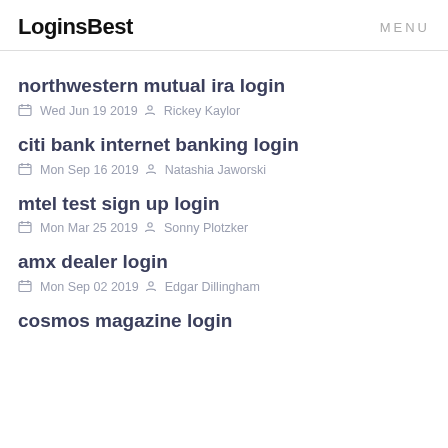LoginsBest   MENU
northwestern mutual ira login
Wed Jun 19 2019  Rickey Kaylor
citi bank internet banking login
Mon Sep 16 2019  Natashia Jaworski
mtel test sign up login
Mon Mar 25 2019  Sonny Plotzker
amx dealer login
Mon Sep 02 2019  Edgar Dillingham
cosmos magazine login